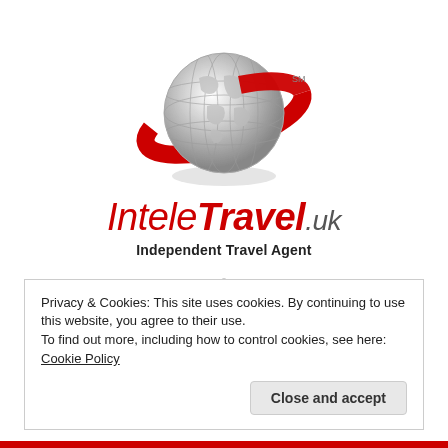[Figure (logo): InteleTravel.uk globe logo with red orbital ring around a metallic globe, with SM superscript. Below: 'InteleTravel.uk' brand name in red italic text. Below that: 'Independent Travel Agent' tagline. Below that: ATOL Protected 12022 badge circular seal.]
Privacy & Cookies: This site uses cookies. By continuing to use this website, you agree to their use.
To find out more, including how to control cookies, see here: Cookie Policy
Close and accept